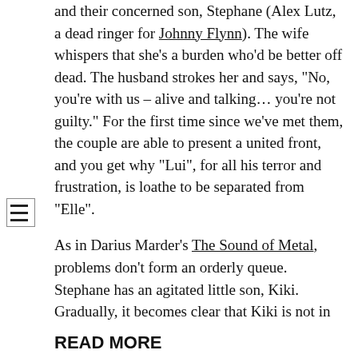and their concerned son, Stephane (Alex Lutz, a dead ringer for Johnny Flynn). The wife whispers that she’s a burden who’d be better off dead. The husband strokes her and says, “No, you’re with us – alive and talking… you’re not guilty.” For the first time since we’ve met them, the couple are able to present a united front, and you get why “Lui”, for all his terror and frustration, is loathe to be separated from “Elle”.
As in Darius Marder’s The Sound of Metal, problems don’t form an orderly queue. Stephane has an agitated little son, Kiki. Gradually, it becomes clear that Kiki is not in safe hands. Admittedly, the plot thread about the siren call of drugs (even the ones that mother gives you) becomes a tad contrived. But on the whole, Noe offers a fresh angle on human frailty.
READ MORE